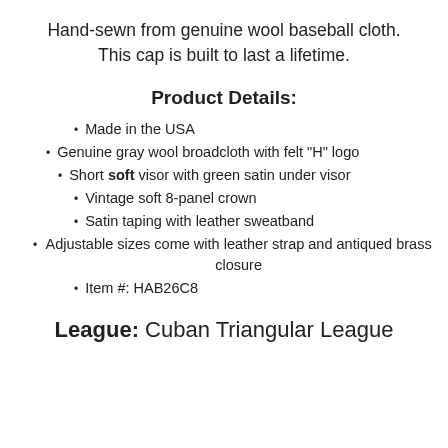Hand-sewn from genuine wool baseball cloth. This cap is built to last a lifetime.
Product Details:
Made in the USA
Genuine gray wool broadcloth with felt "H" logo
Short soft visor with green satin under visor
Vintage soft 8-panel crown
Satin taping with leather sweatband
Adjustable sizes come with leather strap and antiqued brass closure
Item #: HAB26C8
League: Cuban Triangular League